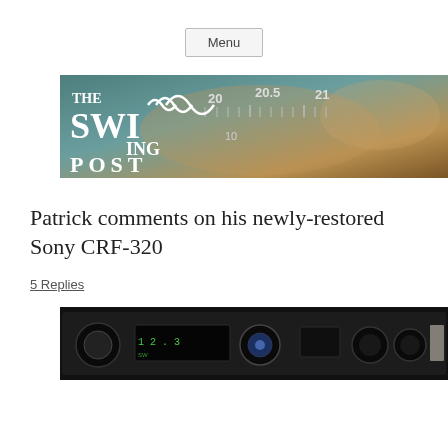Menu
[Figure (photo): The SWLing Post banner logo with radio dial background showing shortwave frequency numbers (20, 20.5, 21) and world map, with white text logo]
Patrick comments on his newly-restored Sony CRF-320
5 Replies
[Figure (photo): Photo of Sony CRF-320 radio receiver front panel in dark/black color, showing tuning dial and controls]